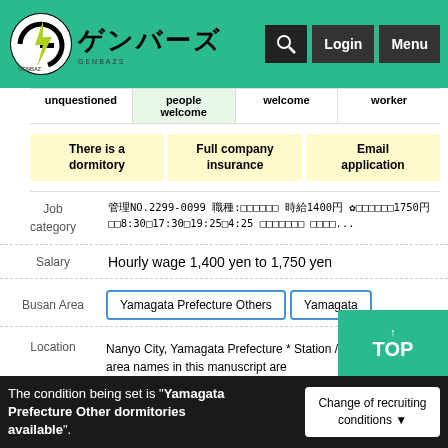[Figure (logo): Genbaz logo with lightning bolt circle and Japanese text ゲンバーズ]
unquestioned | people welcome | welcome | worker
| There is a dormitory | Full company insurance | Email application |
| Job category | Salary | Busan Area | Location |
| --- | --- | --- | --- |
| Job category | 管理NO.2299-0099 職種:□□□□□□ 時給1400円 ✿□□□□□□1750円 □□8:30□17:30□19:25□4:25 □□□□□□□ □□□□... |
| Salary | Hourly wage 1,400 yen to 1,750 yen |
| Busan Area | Yamagata Prefecture Others | Yamagata |
| Location | Nanyo City, Yamagata Prefecture * Station / area names in this manuscript are recruitment areas.The actual place of work is Yonezawa City, Yamagata Prefecture, 10 minutes by car from Yonezawa Station. |
The condition being set is "Yamagata Prefecture Other dormitories available".
Change of recruiting conditions ▼